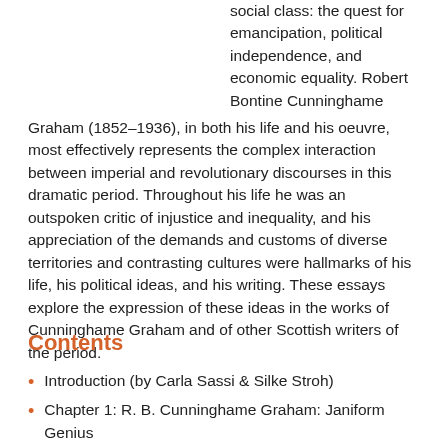social class: the quest for emancipation, political independence, and economic equality. Robert Bontine Cunninghame Graham (1852–1936), in both his life and his oeuvre, most effectively represents the complex interaction between imperial and revolutionary discourses in this dramatic period. Throughout his life he was an outspoken critic of injustice and inequality, and his appreciation of the demands and customs of diverse territories and contrasting cultures were hallmarks of his life, his political ideas, and his writing. These essays explore the expression of these ideas in the works of Cunninghame Graham and of other Scottish writers of the period.
Contents
Introduction (by Carla Sassi & Silke Stroh)
Chapter 1: R. B. Cunninghame Graham: Janiform Genius (by Carla Sassi)